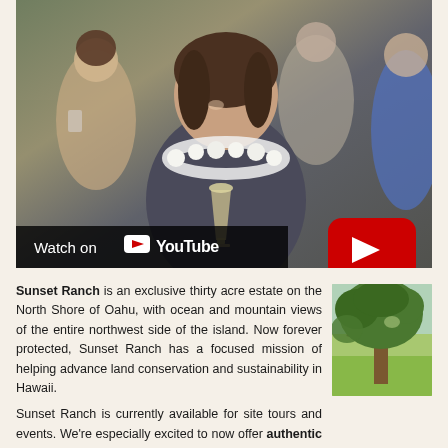[Figure (screenshot): YouTube video thumbnail showing people at an outdoor event, a woman with a lei holding a champagne glass smiling, with a large red YouTube play button overlay and 'Watch on YouTube' bar at the bottom.]
Sunset Ranch is an exclusive thirty acre estate on the North Shore of Oahu, with ocean and mountain views of the entire northwest side of the island. Now forever protected, Sunset Ranch has a focused mission of helping advance land conservation and sustainability in Hawaii.
Sunset Ranch is currently available for site tours and events. We're especially excited to now offer authentic Hawaiian Site Tour Experiences. These tours provide a unique opportunity to visit one of the most exclusive estates on Oahu and learn about the history of the ranch, land
[Figure (photo): Photo of a large tree with dense canopy in a green field, appearing to be on the ranch property.]